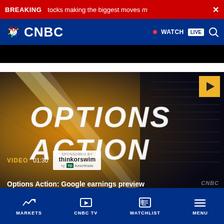BREAKING tocks making the biggest moves n ×
CNBC • WATCH LIVE 🔍
[Figure (screenshot): CNBC website screenshot showing a video thumbnail for 'Options Action: Google earnings preview' with VIDEO 01:30 label and thinkorswim by TD Ameritrade sponsor logo]
Options Action: Google earnings preview
MARKETS | CNBC TV | WATCHLIST | MENU